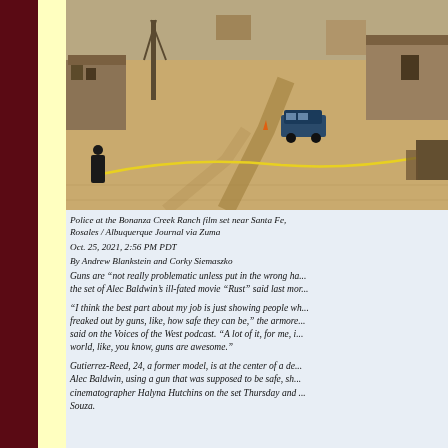[Figure (photo): Aerial view of the Bonanza Creek Ranch film set near Santa Fe, showing dirt roads, buildings, a police vehicle, and yellow crime scene tape in an arid landscape.]
Police at the Bonanza Creek Ranch film set near Santa Fe, Rosales / Albuquerque Journal via Zuma
Oct. 25, 2021, 2:56 PM PDT
By Andrew Blankstein and Corky Siemaszko
Guns are “not really problematic unless put in the wrong ha... the set of Alec Baldwin’s ill-fated movie “Rust” said last mor...
“I think the best part about my job is just showing people wh... freaked out by guns, like, how safe they can be,” the armore... said on the Voices of the West podcast. “A lot of it, for me, i... world, like, you know, guns are awesome.”
Gutierrez-Reed, 24, a former model, is at the center of a de... Alec Baldwin, using a gun that was supposed to be safe, sh... cinematographer Halyna Hutchins on the set Thursday and ... Souza.